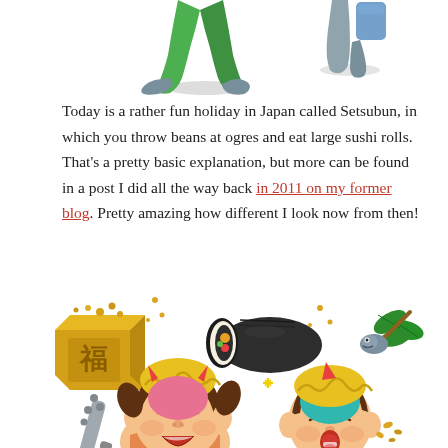[Figure (illustration): Top portion of cartoon illustration showing legs of two figures walking, with grey shadow beneath them, against white background]
Today is a rather fun holiday in Japan called Setsubun, in which you throw beans at ogres and eat large sushi rolls. That’s a pretty basic explanation, but more can be found in a post I did all the way back in 2011 on my former blog. Pretty amazing how different I look now from then!
[Figure (illustration): Colorful cartoon illustration of Setsubun holiday items (box of beans with kanji 福, sushi maki roll, sardine head with holly) and two cute cartoon children dressed as oni (demons) with yellow curly hair and horns, one holding a spiked club, with scattered beans, on white background]